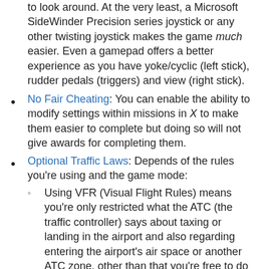to look around. At the very least, a Microsoft SideWinder Precision series joystick or any other twisting joystick makes the game much easier. Even a gamepad offers a better experience as you have yoke/cyclic (left stick), rudder pedals (triggers) and view (right stick).
No Fair Cheating: You can enable the ability to modify settings within missions in X to make them easier to complete but doing so will not give awards for completing them.
Optional Traffic Laws: Depends of the rules you're using and the game mode:
Using VFR (Visual Flight Rules) means you're only restricted what the ATC (the traffic controller) says about taxing or landing in the airport and also regarding entering the airport's air space or another ATC zone, other than that you're free to do whatever you like with the plane. On the other hand, using IFR (Instrumental Flight Rules) means you have to obey